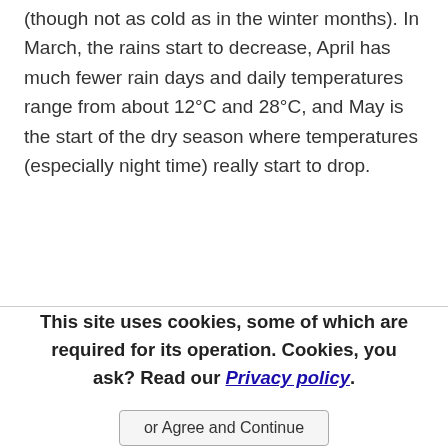(though not as cold as in the winter months). In March, the rains start to decrease, April has much fewer rain days and daily temperatures range from about 12°C and 28°C, and May is the start of the dry season where temperatures (especially night time) really start to drop.
This site uses cookies, some of which are required for its operation. Cookies, you ask? Read our Privacy policy. or Agree and Continue